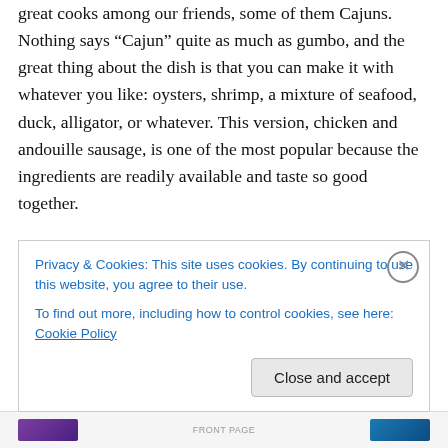great cooks among our friends, some of them Cajuns. Nothing says “Cajun” quite as much as gumbo, and the great thing about the dish is that you can make it with whatever you like: oysters, shrimp, a mixture of seafood, duck, alligator, or whatever. This version, chicken and andouille sausage, is one of the most popular because the ingredients are readily available and taste so good together.
I don’t know where I got this recipe. Certainly it has been influenced by my friends, Reggie Graves and Ronnie George, but over the years I have tuned it and tweaked it
Privacy & Cookies: This site uses cookies. By continuing to use this website, you agree to their use.
To find out more, including how to control cookies, see here: Cookie Policy